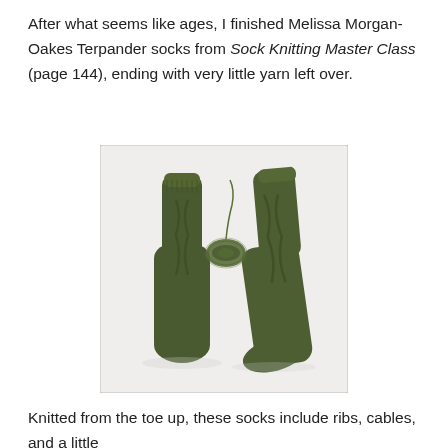After what seems like ages, I finished Melissa Morgan-Oakes Terpander socks from Sock Knitting Master Class (page 144), ending with very little yarn left over.
[Figure (photo): Two dark olive/army green knitted cable socks laid flat on a white surface, with a small skein of remaining green yarn between them.]
Knitted from the toe up, these socks include ribs, cables, and a little